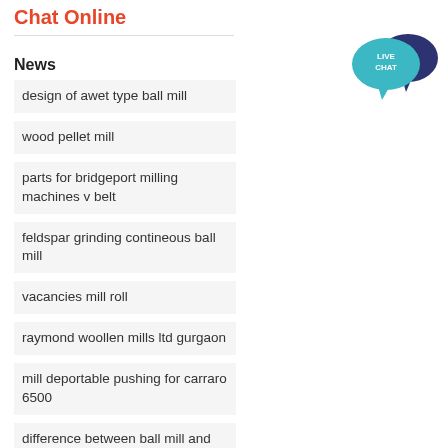Chat Online
News
design of awet type ball mill
wood pellet mill
parts for bridgeport milling machines v belt
feldspar grinding contineous ball mill
vacancies mill roll
raymond woollen mills ltd gurgaon
mill deportable pushing for carraro 6500
difference between ball mill and bowl mill
[Figure (illustration): Live Chat speech bubble icon in teal and dark navy blue]